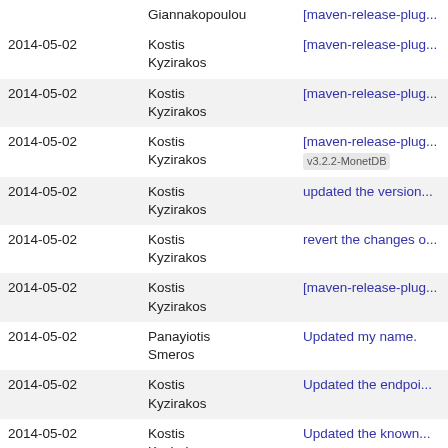| Date | Author | Message |
| --- | --- | --- |
|  | Giannakopoulou | [maven-release-plug... |
| 2014-05-02 | Kostis Kyzirakos | [maven-release-plug... |
| 2014-05-02 | Kostis Kyzirakos | [maven-release-plug... |
| 2014-05-02 | Kostis Kyzirakos | [maven-release-plug...
v3.2.2-MonetDB |
| 2014-05-02 | Kostis Kyzirakos | updated the version... |
| 2014-05-02 | Kostis Kyzirakos | revert the changes o... |
| 2014-05-02 | Kostis Kyzirakos | [maven-release-plug... |
| 2014-05-02 | Panayiotis Smeros | Updated my name. |
| 2014-05-02 | Kostis Kyzirakos | Updated the endpoi... |
| 2014-05-02 | Kostis Kyzirakos | Updated the known... |
| 2014-05-02 | Kostis Kyzirakos | Updated my email |
| 2014-04-03 | Babis Nikolaou | Strabon Endpoint: re... is not needed (timen... geometries were re... |
| 2014-03-17 | George Stamoulis | Removed a System.... |